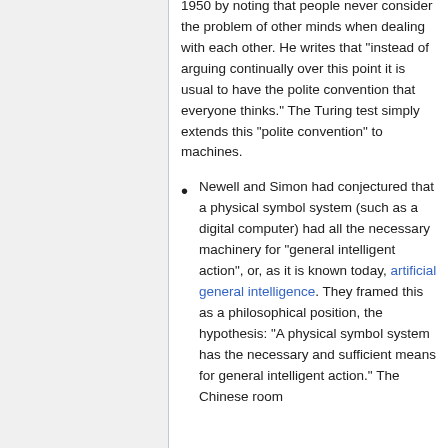1950 by noting that people never consider the problem of other minds when dealing with each other. He writes that "instead of arguing continually over this point it is usual to have the polite convention that everyone thinks." The Turing test simply extends this "polite convention" to machines.
Newell and Simon had conjectured that a physical symbol system (such as a digital computer) had all the necessary machinery for "general intelligent action", or, as it is known today, artificial general intelligence. They framed this as a philosophical position, the hypothesis: "A physical symbol system has the necessary and sufficient means for general intelligent action." The Chinese room